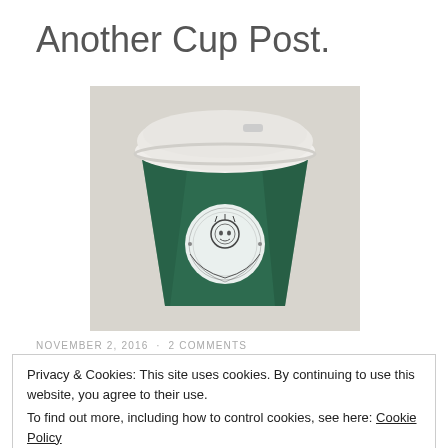Another Cup Post.
[Figure (photo): Close-up photo of a Starbucks coffee cup with green sleeve showing the Starbucks logo/siren design, topped with a white plastic lid]
NOVEMBER 2, 2016 · 2 COMMENTS
Privacy & Cookies: This site uses cookies. By continuing to use this website, you agree to their use. To find out more, including how to control cookies, see here: Cookie Policy
Close and accept
morning and make the kids lunches then.At 2:58am I